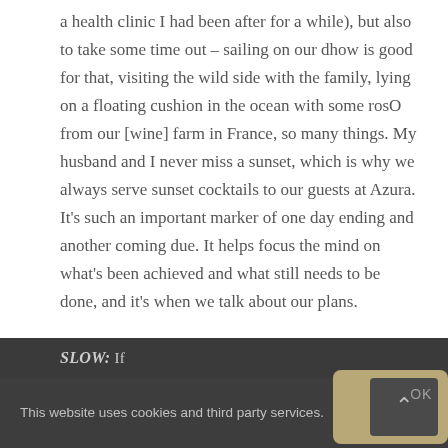a health clinic I had been after for a while), but also to take some time out – sailing on our dhow is good for that, visiting the wild side with the family, lying on a floating cushion in the ocean with some rosO from our [wine] farm in France, so many things. My husband and I never miss a sunset, which is why we always serve sunset cocktails to our guests at Azura. It's such an important marker of one day ending and another coming due. It helps focus the mind on what's been achieved and what still needs to be done, and it's when we talk about our plans.
SLOW: If...
This website uses cookies and third party services.